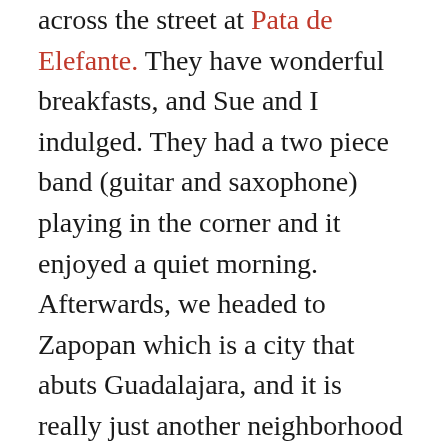across the street at Pata de Elefante. They have wonderful breakfasts, and Sue and I indulged. They had a two piece band (guitar and saxophone) playing in the corner and it enjoyed a quiet morning. Afterwards, we headed to Zapopan which is a city that abuts Guadalajara, and it is really just another neighborhood of the greater Guadalajara area. We went there to go to the local modern art museum with our friends Doug and Kenta. We biked to their place and they drove us to Zapopan. It has a nice little downtown and a large church that looks like it should be a few hundred years older than it is. Perhaps we are spoiled from